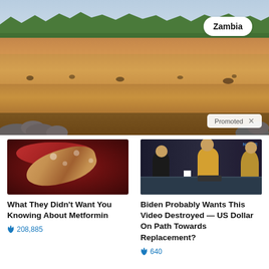[Figure (photo): Aerial/wide view of Zambia safari landscape with dry savanna plains, distant tree line, and elephants in foreground. White badge with 'Zambia' label in upper right. 'Promoted X' overlay in lower right corner.]
[Figure (photo): Close-up medical/biological image showing intestinal or organ tissue with reddish tones and a pale worm-like or tubular structure.]
What They Didn't Want You Knowing About Metformin
208,885
[Figure (photo): TV studio scene with NYSE banner visible, showing three people seated at a desk — a man in a suit on left, a woman in yellow outfit in center-right, and another woman on far right.]
Biden Probably Wants This Video Destroyed — US Dollar On Path Towards Replacement?
640